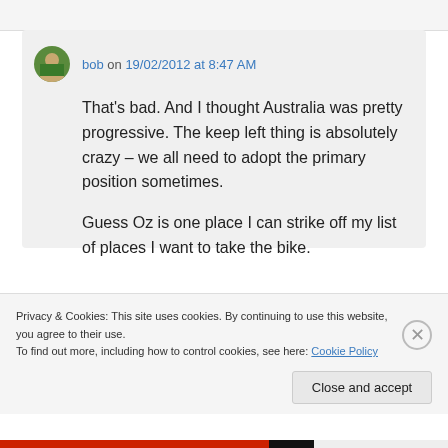bob on 19/02/2012 at 8:47 AM
That's bad. And I thought Australia was pretty progressive. The keep left thing is absolutely crazy – we all need to adopt the primary position sometimes.

Guess Oz is one place I can strike off my list of places I want to take the bike.
Privacy & Cookies: This site uses cookies. By continuing to use this website, you agree to their use.
To find out more, including how to control cookies, see here: Cookie Policy